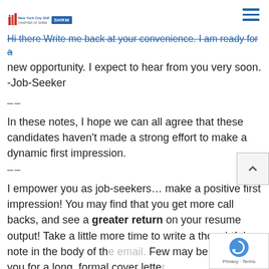New York City SHRM | SHRM (logo)
Hi there Write me back at your convenience. I am ready for a new opportunity. I expect to hear from you very soon. -Job-Seeker
--
In these notes, I hope we can all agree that these candidates haven't made a strong effort to make a dynamic first impression.
--
I empower you as job-seekers... make a positive first impression! You may find that you get more call backs, and see a greater return on your resume output! Take a little more time to write a thoughtful note in the body of the email. Few may be asking you for a long, formal cover letter